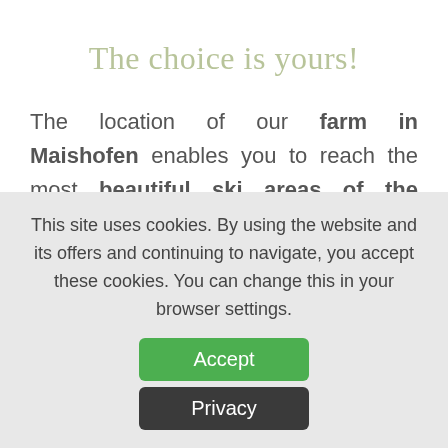The choice is yours!
The location of our farm in Maishofen enables you to reach the most beautiful ski areas of the Salzburg region. From wide slopes for carving skiers, over challenging descents for snowboarders and free skiers
This site uses cookies. By using the website and its offers and continuing to navigate, you accept these cookies. You can change this in your browser settings.
Accept
Privacy